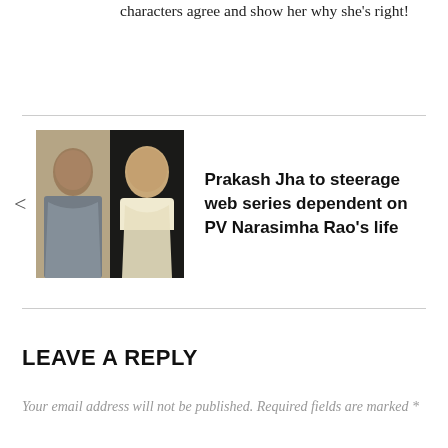characters agree and show her why she's right!
[Figure (photo): Two people shown side-by-side: a man on the left in casual clothing and a man on the right in white traditional clothing]
Prakash Jha to steerage web series dependent on PV Narasimha Rao's life
LEAVE A REPLY
Your email address will not be published. Required fields are marked *